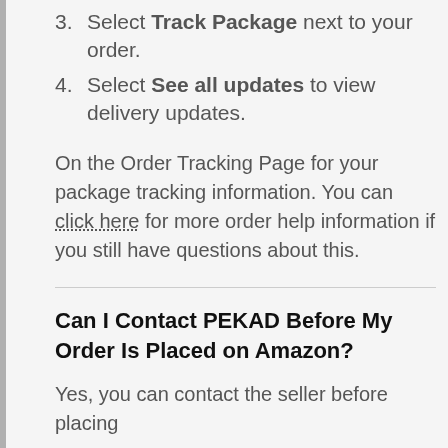3. Select Track Package next to your order.
4. Select See all updates to view delivery updates.
On the Order Tracking Page for your package tracking information. You can click here for more order help information if you still have questions about this.
Can I Contact PEKAD Before My Order Is Placed on Amazon?
Yes, you can contact the seller before placing